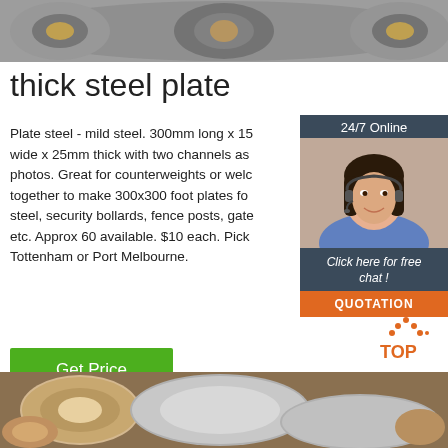[Figure (photo): Steel coils/rolls at top of page]
thick steel plate
Plate steel - mild steel. 300mm long x 15 wide x 25mm thick with two channels as photos. Great for counterweights or welc together to make 300x300 foot plates fo steel, security bollards, fence posts, gate etc. Approx 60 available. $10 each. Pick Tottenham or Port Melbourne.
[Figure (infographic): 24/7 Online chat widget with woman wearing headset, click here for free chat, QUOTATION button]
[Figure (illustration): Get Price green button]
[Figure (logo): TOP logo with orange dots]
[Figure (photo): Steel pipes/rods at bottom of page]